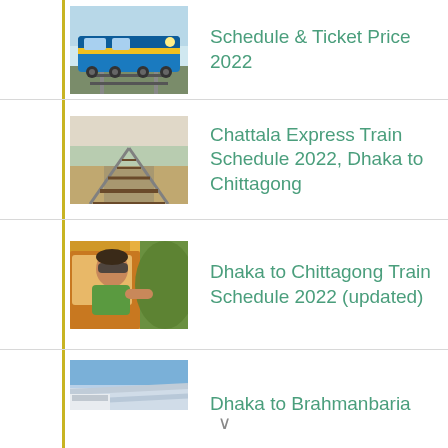Schedule & Ticket Price 2022
Chattala Express Train Schedule 2022, Dhaka to Chittagong
Dhaka to Chittagong Train Schedule 2022 (updated)
Dhaka to Brahmanbaria